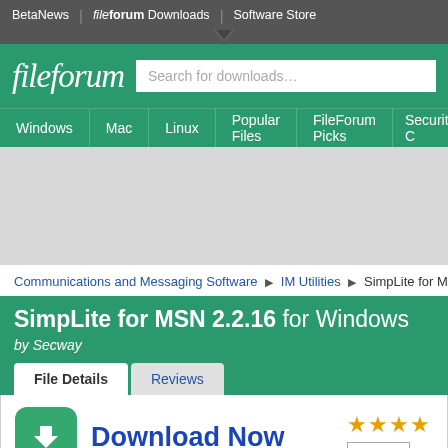BetaNews | fileforum Downloads | Software Store
[Figure (logo): fileforum logo with search box]
Windows | Mac | Linux | Popular Files | FileForum Picks | Security C
[Figure (screenshot): Gray advertisement area]
Communications and Messaging Software ▶ IM Utilities ▶ SimpLite for MSN
SimpLite for MSN 2.2.16 for Windows by Secway
File Details | Reviews
Download Now
5 stars Ra